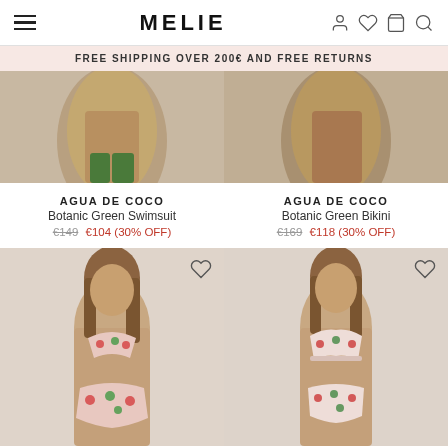MELIE
FREE SHIPPING OVER 200€ AND FREE RETURNS
[Figure (photo): Cropped photo of model wearing Botanic Green Swimsuit, showing lower torso area]
[Figure (photo): Cropped photo of model wearing Botanic Green Bikini, showing lower torso area]
AGUA DE COCO
Botanic Green Swimsuit
€149  €104 (30% OFF)
AGUA DE COCO
Botanic Green Bikini
€169  €118 (30% OFF)
[Figure (photo): Model wearing floral print bikini set (triangle top and high-waist bottom) in pink/red floral pattern]
[Figure (photo): Model wearing floral print bikini set (underwire top and classic bottom) in pink/red floral pattern]